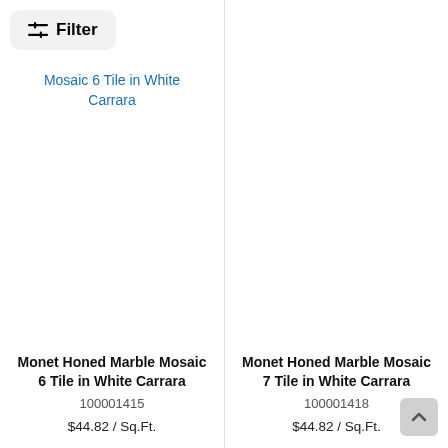[Figure (screenshot): Filter button with sliders icon and label 'Filter' on a light gray rounded rectangle background]
Mosaic 6 Tile in White Carrara
Monet Honed Marble Mosaic 6 Tile in White Carrara
100001415
$44.82 / Sq.Ft.
Monet Honed Marble Mosaic 7 Tile in White Carrara
100001418
$44.82 / Sq.Ft.